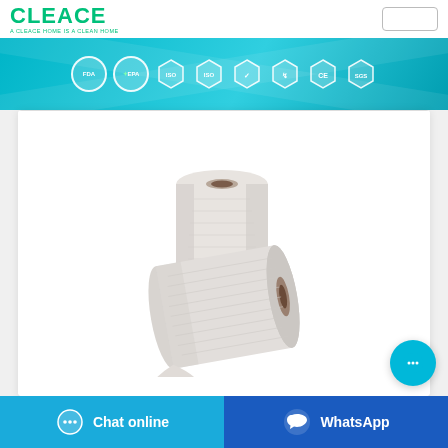CLEACE — A CLEACE HOME IS A CLEAN HOME
[Figure (infographic): Teal banner showing 8 certification badges: FDA, EPA, and 6 other certification hexagon/circle badges]
[Figure (photo): Two white paper towel rolls (one upright, one lying on its side) on white background]
Chat online
WhatsApp